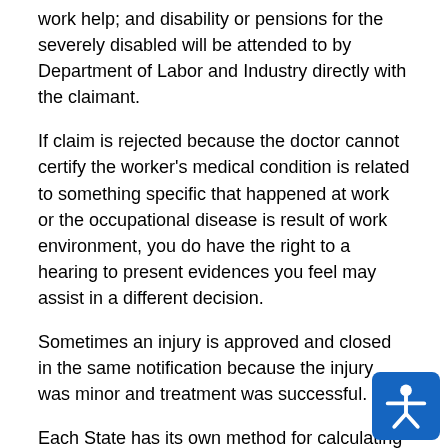work help; and disability or pensions for the severely disabled will be attended to by Department of Labor and Industry directly with the claimant.
If claim is rejected because the doctor cannot certify the worker's medical condition is related to something specific that happened at work or the occupational disease is result of work environment, you do have the right to a hearing to present evidences you feel may assist in a different decision.
Sometimes an injury is approved and closed in the same notification because the injury was minor and treatment was successful.
Each State has its own method for calculating cash payment benefits. Again, the State of New York uses the formula of ⅔ average weekly wage x percent of disability to determine weekly benefit. If death occurs, death benefits are paid to surviving family at a maximum of ⅔ of the deceased average wage for year before the accident.